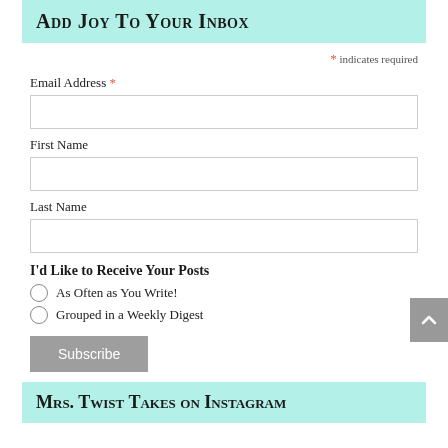Add Joy To Your Inbox
* indicates required
Email Address *
First Name
Last Name
I'd Like to Receive Your Posts
As Often as You Write!
Grouped in a Weekly Digest
Subscribe
Mrs. Twist Takes on Instagram